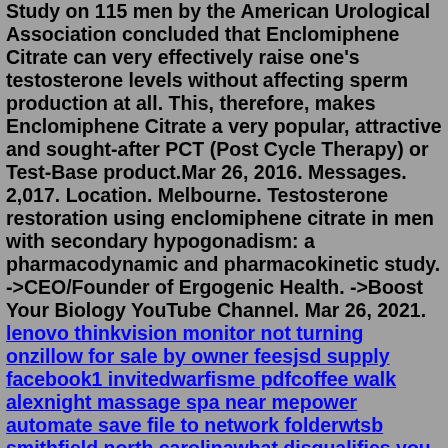Study on 115 men by the American Urological Association concluded that Enclomiphene Citrate can very effectively raise one's testosterone levels without affecting sperm production at all. This, therefore, makes Enclomiphene Citrate a very popular, attractive and sought-after PCT (Post Cycle Therapy) or Test-Base product.Mar 26, 2016. Messages. 2,017. Location. Melbourne. Testosterone restoration using enclomiphene citrate in men with secondary hypogonadism: a pharmacodynamic and pharmacokinetic study. ->CEO/Founder of Ergogenic Health. ->Boost Your Biology YouTube Channel. Mar 26, 2021. lenovo thinkvision monitor not turning onzillow for sale by owner feesjsd supply facebook1 invitedwarfisme pdfcoffee walk alexnight massage spa near mepower automate save file to network folderwtsb smithfield north carolinawhat disqualifies you from being a foster parent in missourialweld 1756 marsh invaderhow to pronounce masculine gender xo